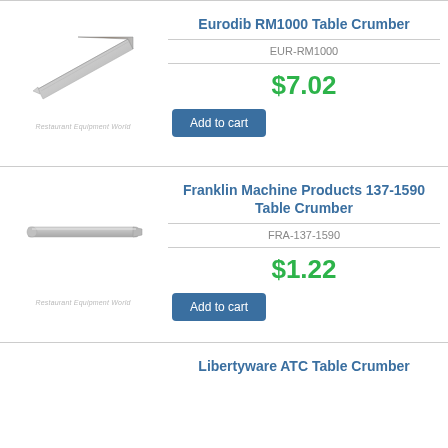[Figure (photo): Eurodib RM1000 Table Crumber product photo - a wedge-shaped silver crumb scraper]
Eurodib RM1000 Table Crumber
EUR-RM1000
$7.02
Add to cart
[Figure (photo): Franklin Machine Products 137-1590 Table Crumber product photo - a long thin silver metal bar/scraper]
Franklin Machine Products 137-1590 Table Crumber
FRA-137-1590
$1.22
Add to cart
Libertyware ATC Table Crumber